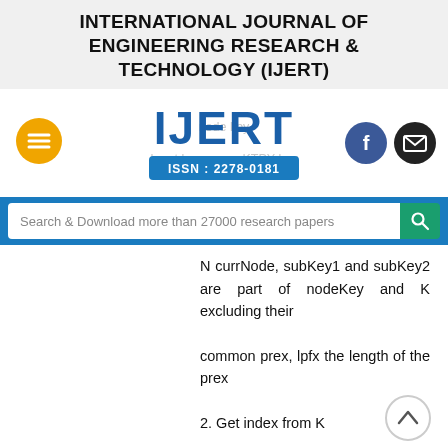INTERNATIONAL JOURNAL OF ENGINEERING RESEARCH & TECHNOLOGY (IJERT)
[Figure (logo): IJERT logo with ISSN: 2278-0181, accompanied by hamburger menu button (orange), Facebook button (blue circle), and email button (dark circle). Watermark text shows 'node key' and 'Input key KTPY key'.]
[Figure (other): Search bar with text 'Search & Download more than 27000 research papers' and a teal search button]
N currNode, subKey1 and subKey2 are part of nodeKey and K excluding their
common prex, lpfx the length of the prex
2. Get index from K